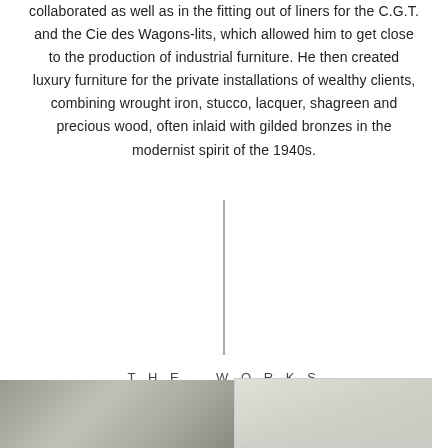collaborated as well as in the fitting out of liners for the C.G.T. and the Cie des Wagons-lits, which allowed him to get close to the production of industrial furniture. He then created luxury furniture for the private installations of wealthy clients, combining wrought iron, stucco, lacquer, shagreen and precious wood, often inlaid with gilded bronzes in the modernist spirit of the 1940s.
THE WORKS
[Figure (photo): Partial view of a furniture or object with dark/grey tones, bottom-left of page]
[Figure (photo): Light-toned rectangular image, bottom-right of page]